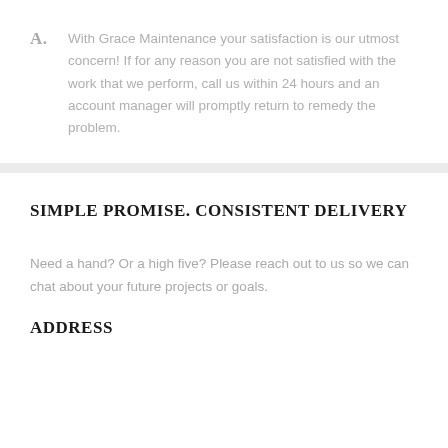A. With Grace Maintenance your satisfaction is our utmost concern! If for any reason you are not satisfied with the work that we perform, call us within 24 hours and an account manager will promptly return to remedy the problem.
SIMPLE PROMISE. CONSISTENT DELIVERY
Need a hand? Or a high five? Please reach out to us so we can chat about your future projects or goals.
ADDRESS